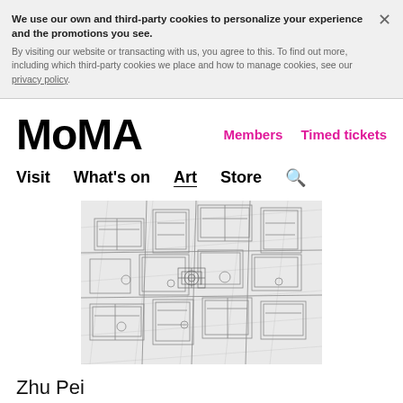We use our own and third-party cookies to personalize your experience and the promotions you see. By visiting our website or transacting with us, you agree to this. To find out more, including which third-party cookies we place and how to manage cookies, see our privacy policy.
MoMA
Members   Timed tickets
Visit   What's on   Art   Store   🔍
[Figure (illustration): Detailed architectural/city map line drawing showing an aerial isometric view of urban buildings and streets in black and white]
Zhu Pei